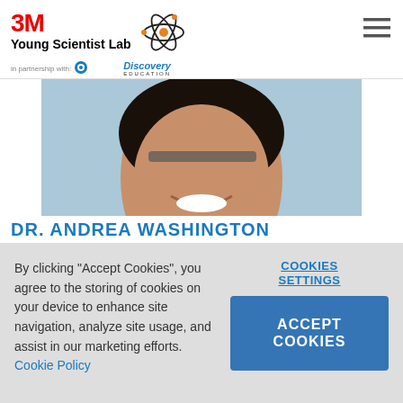[Figure (logo): 3M Young Scientist Lab logo with atom graphic and 'in partnership with Discovery Education' text]
[Figure (photo): Close-up portrait photo of Dr. Andrea Washington, smiling woman with glasses and dark hair, blue background]
DR. ANDREA WASHINGTON
By clicking "Accept Cookies", you agree to the storing of cookies on your device to enhance site navigation, analyze site usage, and assist in our marketing efforts. Cookie Policy
COOKIES SETTINGS
ACCEPT COOKIES